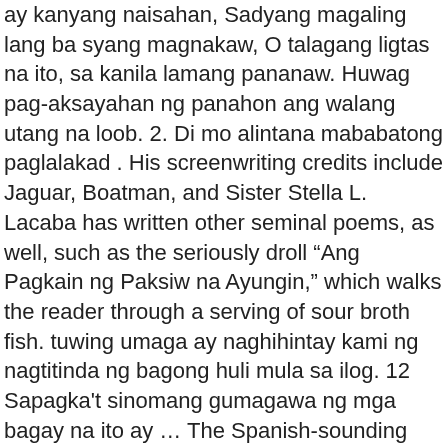ay kanyang naisahan, Sadyang magaling lang ba syang magnakaw, O talagang ligtas na ito, sa kanila lamang pananaw. Huwag pag-aksayahan ng panahon ang walang utang na loob. 2. Di mo alintana mababatong paglalakad . His screenwriting credits include Jaguar, Boatman, and Sister Stella L. Lacaba has written other seminal poems, as well, such as the seriously droll “Ang Pagkain ng Paksiw na Ayungin,” which walks the reader through a serving of sour broth fish. tuwing umaga ay naghihintay kami ng nagtitinda ng bagong huli mula sa ilog. 12 Sapagka't sinomang gumagawa ng mga bagay na ito ay … The Spanish-sounding dish Mechado, because of the word,"mecha" meaning wick, is a beef stew in tomato sauce, with pork’s fat inserted in the middle of the beef, like that of a candle.This dish, however, was developed by Filipinos during the Spanish regime. Read PAGOD NA AKO from the story Spoken Poetry (Tagalog) by blue_BAErry with 97,642 reads. bahaw sa bato, binitawan ng